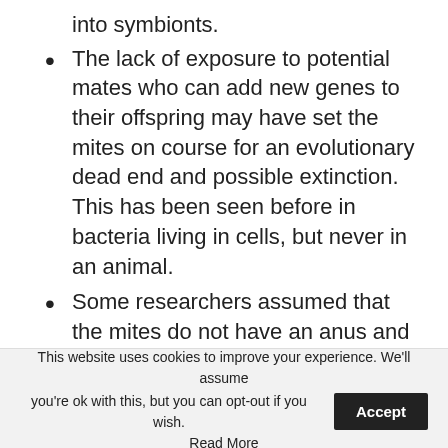into symbionts.
The lack of exposure to potential mates who can add new genes to their offspring may have set the mites on course for an evolutionary dead end and possible extinction. This has been seen before in bacteria living in cells, but never in an animal.
Some researchers assumed that the mites do not have an anus and therefore must collect all of their feces throughout their lives before releasing it when they die
This website uses cookies to improve your experience. We'll assume you're ok with this, but you can opt-out if you wish. Accept Read More